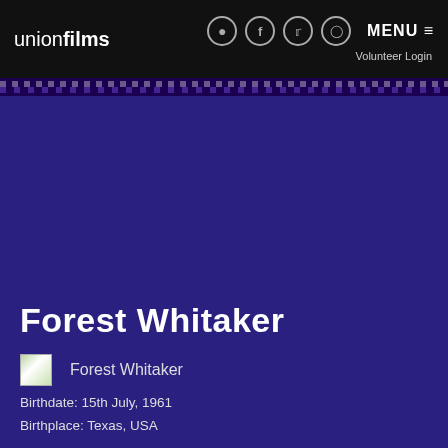union films  MENU ≡  Volunteer Login
Forest Whitaker
[Figure (photo): Broken image placeholder for Forest Whitaker photo]
Forest Whitaker
Birthdate: 15th July, 1961
Birthplace: Texas, USA